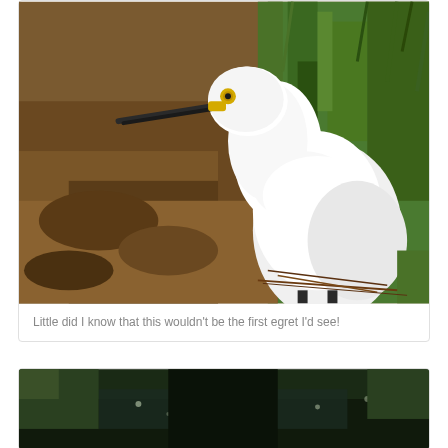[Figure (photo): Close-up photo of a white snowy egret bird with a dark beak with yellow at the base and a bright yellow eye, perched among brown earth and green shrubs/grass in the background]
Little did I know that this wouldn't be the first egret I'd see!
[Figure (photo): Partial photo visible at bottom of page showing a dark outdoor scene, possibly water or wet ground with green vegetation, appears to be a nature/wildlife scene]